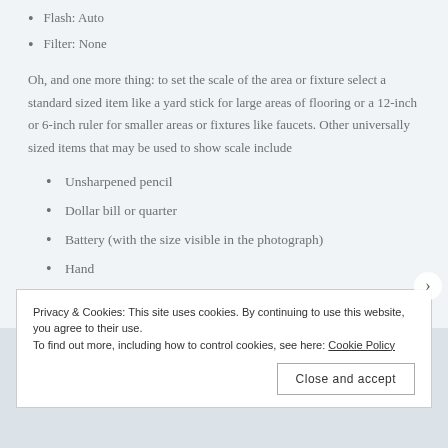Flash: Auto
Filter: None
Oh, and one more thing: to set the scale of the area or fixture select a standard sized item like a yard stick for large areas of flooring or a 12-inch or 6-inch ruler for smaller areas or fixtures like faucets. Other universally sized items that may be used to show scale include
Unsharpened pencil
Dollar bill or quarter
Battery (with the size visible in the photograph)
Hand
Privacy & Cookies: This site uses cookies. By continuing to use this website, you agree to their use.
To find out more, including how to control cookies, see here: Cookie Policy